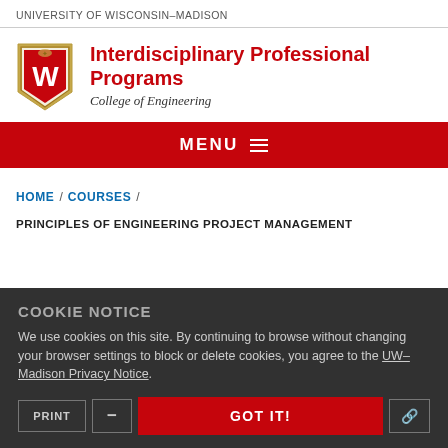UNIVERSITY of WISCONSIN–MADISON
[Figure (logo): University of Wisconsin-Madison crest/shield logo with W emblem]
Interdisciplinary Professional Programs
College of Engineering
MENU
HOME / COURSES /
PRINCIPLES OF ENGINEERING PROJECT MANAGEMENT
COOKIE NOTICE
We use cookies on this site. By continuing to browse without changing your browser settings to block or delete cookies, you agree to the UW–Madison Privacy Notice.
PRINT  –  GOT IT!  🔗